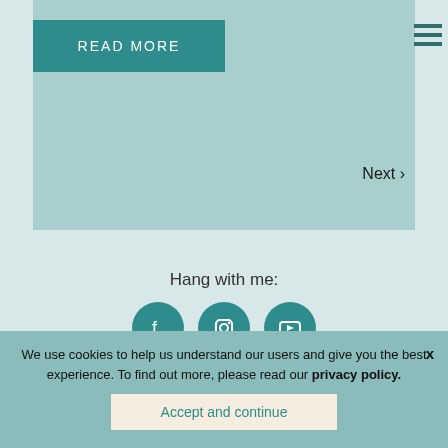[Figure (screenshot): READ MORE button on teal/light-blue background panel with hamburger menu icon top right]
Next ›
Hang with me:
[Figure (illustration): Three teal circular social media icons: Facebook, Instagram, YouTube]
We use cookies to help us understand our users and give you the best experience. To find out more, please read our privacy policy.
Accept and continue